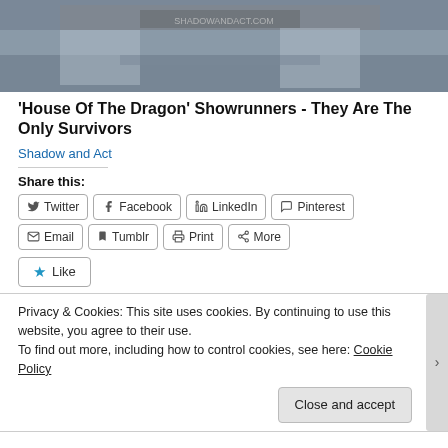[Figure (photo): Top portion of a dark image showing armored figures or statues in front of a building with steps and signage, partially cropped.]
'House Of The Dragon' Showrunners - They Are The Only Survivors
Shadow and Act
Share this:
Twitter Facebook LinkedIn Pinterest Email Tumblr Print More
Like
Privacy & Cookies: This site uses cookies. By continuing to use this website, you agree to their use.
To find out more, including how to control cookies, see here: Cookie Policy
Close and accept